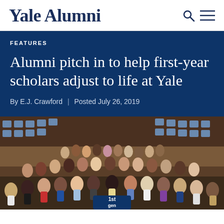Yale Alumni
FEATURES
Alumni pitch in to help first-year scholars adjust to life at Yale
By E.J. Crawford  |  Posted July 26, 2019
[Figure (photo): Group photo of a large gathering of students and alumni inside an auditorium. Many people are smiling and posing for the camera. In the front, a sign reads '1st gen'.]